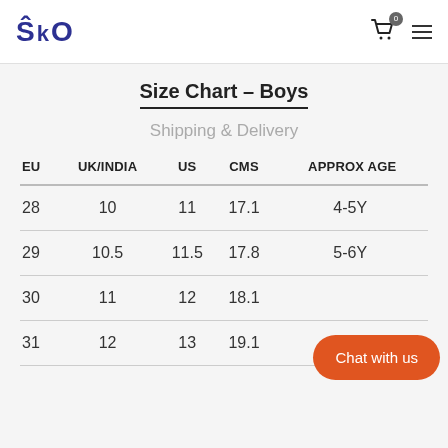SKO | 0 (cart) | menu
Size Chart - Boys
Shipping & Delivery
| EU | UK/INDIA | US | CMS | APPROX AGE |
| --- | --- | --- | --- | --- |
| 28 | 10 | 11 | 17.1 | 4-5Y |
| 29 | 10.5 | 11.5 | 17.8 | 5-6Y |
| 30 | 11 | 12 | 18.1 |  |
| 31 | 12 | 13 | 19.1 | 6-6Y |
Chat with us